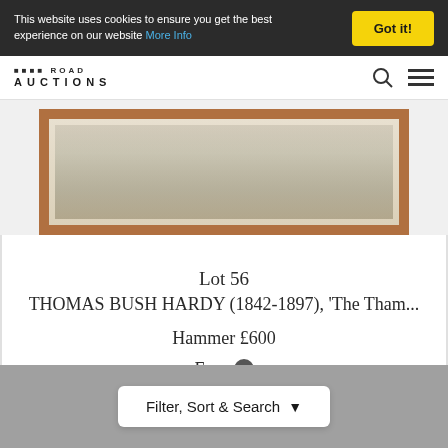This website uses cookies to ensure you get the best experience on our website More Info | Got it!
AUCTIONS
[Figure (photo): A framed painting showing a landscape or waterscape scene, in a gold/brown wooden frame with white matting, partially cropped at the top]
Lot 56
THOMAS BUSH HARDY (1842-1897), 'The Tham...
Hammer £600
Fees
Filter, Sort & Search